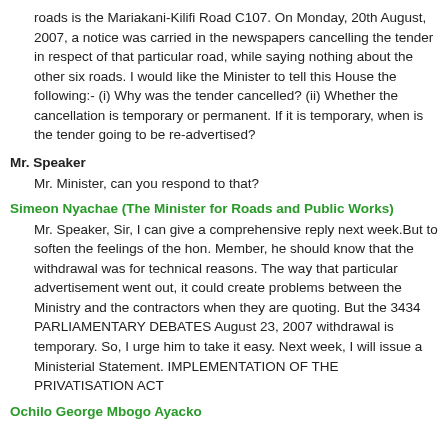roads is the Mariakani-Kilifi Road C107. On Monday, 20th August, 2007, a notice was carried in the newspapers cancelling the tender in respect of that particular road, while saying nothing about the other six roads. I would like the Minister to tell this House the following:- (i) Why was the tender cancelled? (ii) Whether the cancellation is temporary or permanent. If it is temporary, when is the tender going to be re-advertised?
Mr. Speaker
Mr. Minister, can you respond to that?
Simeon Nyachae (The Minister for Roads and Public Works)
Mr. Speaker, Sir, I can give a comprehensive reply next week.But to soften the feelings of the hon. Member, he should know that the withdrawal was for technical reasons. The way that particular advertisement went out, it could create problems between the Ministry and the contractors when they are quoting. But the 3434 PARLIAMENTARY DEBATES August 23, 2007 withdrawal is temporary. So, I urge him to take it easy. Next week, I will issue a Ministerial Statement. IMPLEMENTATION OF THE PRIVATISATION ACT
Ochilo George Mbogo Ayacko